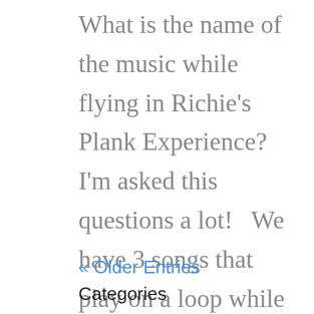What is the name of the music while flying in Richie's Plank Experience?   I'm asked this questions a lot!   We have 3 songs that play on a loop while flying high in Richie's Plank Experience. Two tracks were selected from AudioJungle, and...
« Older Entries
Categories